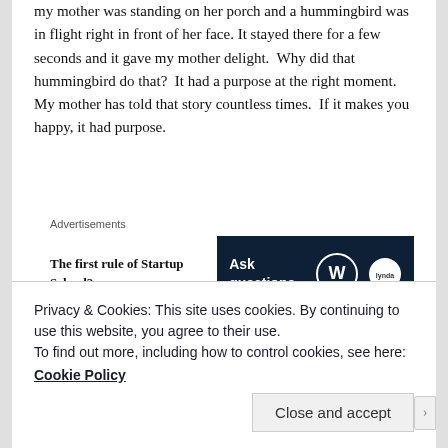my mother was standing on her porch and a hummingbird was in flight right in front of her face. It stayed there for a few seconds and it gave my mother delight.  Why did that hummingbird do that?  It had a purpose at the right moment.  My mother has told that story countless times.  If it makes you happy, it had purpose.
Advertisements
[Figure (infographic): Advertisement banner with text 'The first rule of Startup School?' on the left and a dark navy blue box on the right showing 'Ask questions.' with WordPress and Lynda.com logos]
Joe Lewis is a one of a kind who is yet no different than the inner self that we each have. He laughs
Privacy & Cookies: This site uses cookies. By continuing to use this website, you agree to their use.
To find out more, including how to control cookies, see here:
Cookie Policy
Close and accept